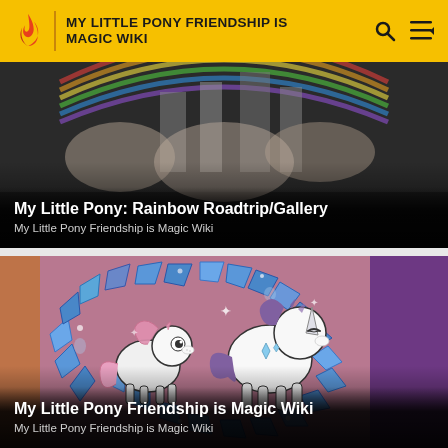MY LITTLE PONY FRIENDSHIP IS MAGIC WIKI
[Figure (screenshot): Screenshot from My Little Pony: Rainbow Roadtrip showing Canterlot castle with rainbow in background, dark overlay at bottom]
My Little Pony: Rainbow Roadtrip/Gallery
My Little Pony Friendship is Magic Wiki
[Figure (illustration): Cartoon illustration of two ponies (Sweetie Belle and Rarity) surrounded by a heart-shaped ring of blue crystals on pink background, with Rarity's horn visible at right]
My Little Pony Friendship is Magic Wiki
My Little Pony Friendship is Magic Wiki